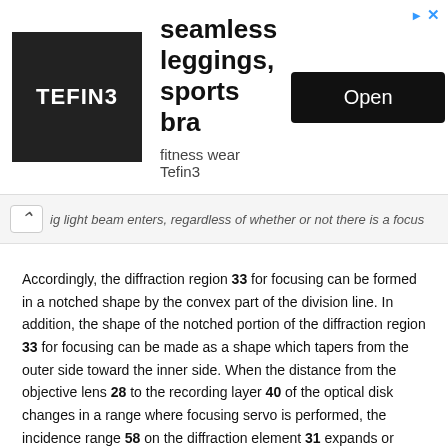[Figure (other): Advertisement banner for Tefin3 fitness wear showing logo, headline 'seamless leggings, sports bra', subtext 'fitness wear Tefin3', and an Open button]
ig light beam enters, regardless of whether or not there is a focus
Accordingly, the diffraction region 33 for focusing can be formed in a notched shape by the convex part of the division line. In addition, the shape of the notched portion of the diffraction region 33 for focusing can be made as a shape which tapers from the outer side toward the inner side. When the distance from the objective lens 28 to the recording layer 40 of the optical disk changes in a range where focusing servo is performed, the incidence range 58 on the diffraction element 31 expands or contracts. Since the diffraction region 33 for focusing is formed in a notched shape by the part of the division line, the shape of a section perpendicular to the propagating direction of light diffracted in the diffraction region 33 for focusing can be made as a notched shape even if the incidence range 58 on the diffraction element 31 expands or contracts.
Accordingly, it is possible to suppress the situation where the ratio of the light intensity of light beam, which enters the light receiving region 32 for focusing, to the light intensity of all light beams, which enter the diffraction